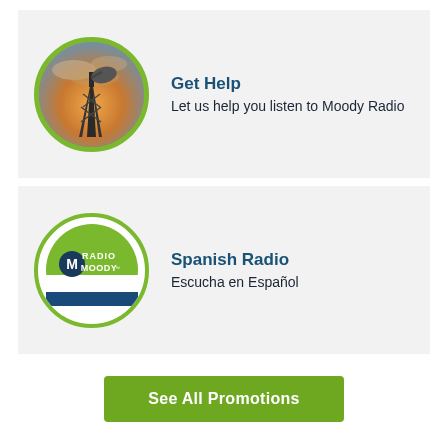[Figure (illustration): Radio tower silhouette against an orange/cloudy sunset sky inside a green-bordered circle]
Get Help
Let us help you listen to Moody Radio
[Figure (logo): Radio Moody logo: green circle with 'M' icon and text 'RADIO MOODY' with blue stripe at bottom]
Spanish Radio
Escucha en Español
See All Promotions